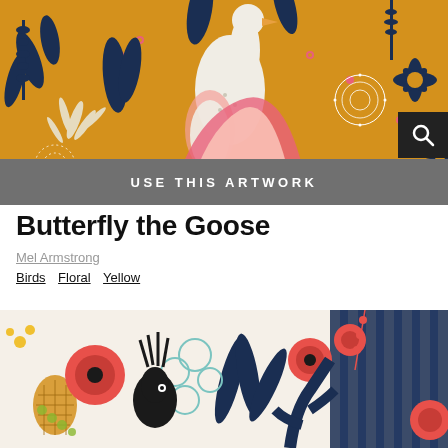[Figure (illustration): Colorful folk art illustration on golden yellow background featuring a white goose bird surrounded by dark navy blue botanical leaves, flowers, dandelions, pink floral accents, and white leaf sprigs on a mustard yellow ground.]
USE THIS ARTWORK
Butterfly the Goose
Mel Armstrong
Birds  Floral  Yellow
[Figure (illustration): Folk art pattern on cream/off-white background featuring dark navy tropical leaves, teal eucalyptus circles, red coral flowers and berries, a black spiky bird (cockatoo-like), golden honeycomb lanterns, and botanical elements.]